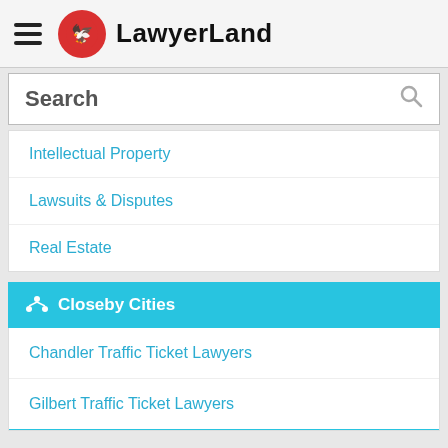LawyerLand
Search
Intellectual Property
Lawsuits & Disputes
Real Estate
Closeby Cities
Chandler Traffic Ticket Lawyers
Gilbert Traffic Ticket Lawyers